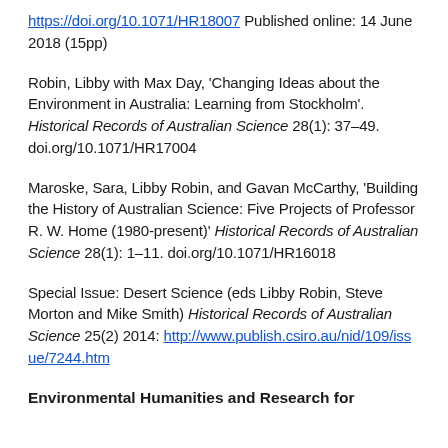https://doi.org/10.1071/HR18007 Published online: 14 June 2018 (15pp)
Robin, Libby with Max Day, 'Changing Ideas about the Environment in Australia: Learning from Stockholm'. Historical Records of Australian Science 28(1): 37–49. doi.org/10.1071/HR17004
Maroske, Sara, Libby Robin, and Gavan McCarthy, 'Building the History of Australian Science: Five Projects of Professor R. W. Home (1980-present)' Historical Records of Australian Science 28(1): 1–11. doi.org/10.1071/HR16018
Special Issue: Desert Science (eds Libby Robin, Steve Morton and Mike Smith) Historical Records of Australian Science 25(2) 2014: http://www.publish.csiro.au/nid/109/issue/7244.htm
Environmental Humanities and Research for